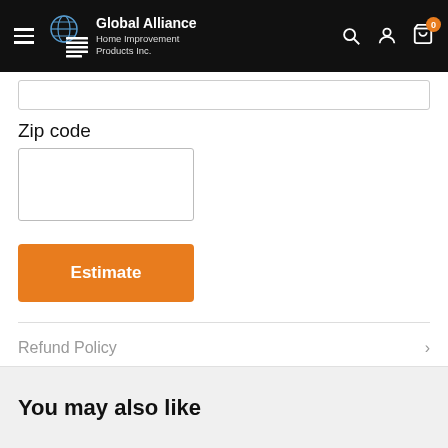[Figure (screenshot): Navigation bar with hamburger menu, Global Alliance Home Improvement Products Inc. logo, search icon, user icon, and cart icon with badge showing 0]
Zip code
[Figure (screenshot): Empty zip code input text field]
[Figure (screenshot): Orange Estimate button]
Refund Policy
You may also like